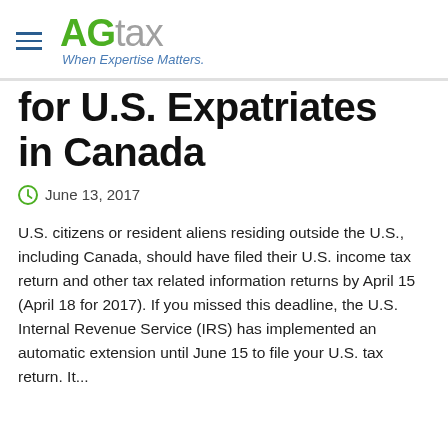[Figure (logo): AG tax logo with hamburger menu icon. 'AG' in green bold, 'tax' in gray, tagline 'When Expertise Matters.' in blue italic]
for U.S. Expatriates in Canada
June 13, 2017
U.S. citizens or resident aliens residing outside the U.S., including Canada, should have filed their U.S. income tax return and other tax related information returns by April 15 (April 18 for 2017). If you missed this deadline, the U.S. Internal Revenue Service (IRS) has implemented an automatic extension until June 15 to file your U.S. tax return. It...